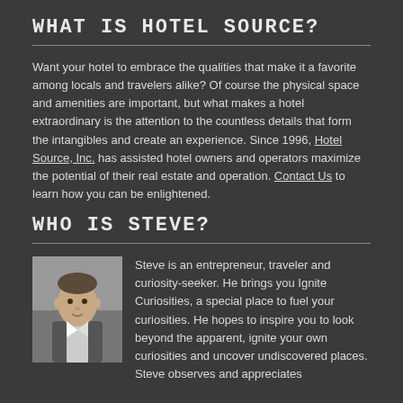WHAT IS HOTEL SOURCE?
Want your hotel to embrace the qualities that make it a favorite among locals and travelers alike? Of course the physical space and amenities are important, but what makes a hotel extraordinary is the attention to the countless details that form the intangibles and create an experience. Since 1996, Hotel Source, Inc. has assisted hotel owners and operators maximize the potential of their real estate and operation. Contact Us to learn how you can be enlightened.
WHO IS STEVE?
[Figure (photo): Headshot of Steve, a man in a suit, standing outdoors in an urban setting.]
Steve is an entrepreneur, traveler and curiosity-seeker. He brings you Ignite Curiosities, a special place to fuel your curiosities. He hopes to inspire you to look beyond the apparent, ignite your own curiosities and uncover undiscovered places. Steve observes and appreciates